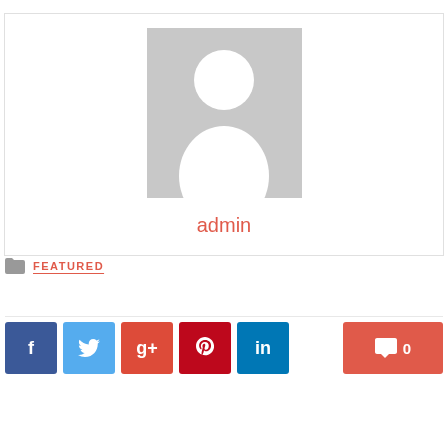[Figure (photo): Default user avatar placeholder - gray square with white silhouette of a person]
admin
FEATURED
[Figure (infographic): Social sharing buttons row: Facebook (f), Twitter (bird), Google+ (g+), Pinterest (P), LinkedIn (in), and a comment count button showing 0]